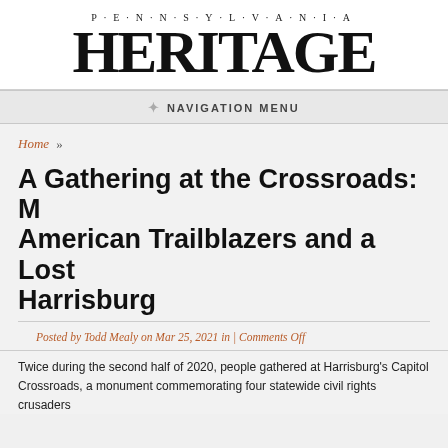[Figure (logo): Pennsylvania Heritage magazine logo with 'P·E·N·N·S·Y·L·V·A·N·I·A' in small spaced caps above large bold 'HERITAGE' text]
NAVIGATION MENU
Home »
A Gathering at the Crossroads: M... American Trailblazers and a Lost... Harrisburg
Posted by Todd Mealy on Mar 25, 2021 in | Comments Off
Twice during the second half of 2020, people gathered at Harrisburg's Capitol Crossroads, a monument commemorating four statewide civil rights crusaders...